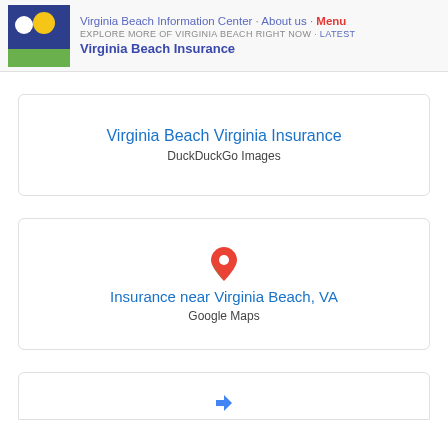Virginia Beach Information Center · About us · Menu
EXPLORE MORE OF VIRGINIA BEACH RIGHT NOW · Latest
Virginia Beach Insurance
Virginia Beach Virginia Insurance
DuckDuckGo Images
Insurance near Virginia Beach, VA
Google Maps